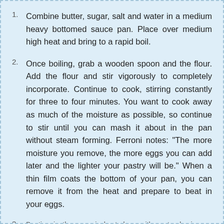1. Combine butter, sugar, salt and water in a medium heavy bottomed sauce pan. Place over medium high heat and bring to a rapid boil.
2. Once boiling, grab a wooden spoon and the flour. Add the flour and stir vigorously to completely incorporate. Continue to cook, stirring constantly for three to four minutes. You want to cook away as much of the moisture as possible, so continue to stir until you can mash it about in the pan without steam forming. Ferroni notes: "The more moisture you remove, the more eggs you can add later and the lighter your pastry will be." When a thin film coats the bottom of your pan, you can remove it from the heat and prepare to beat in your eggs.
3. Beating in the eggs is best done with a stand mixer or electric beaters. However it can be done by hand if you have the prerequisite stamina and/or viking arms.